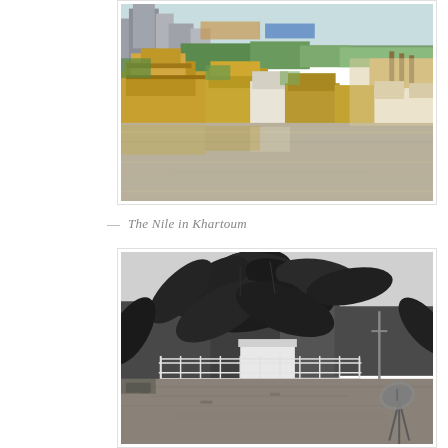[Figure (photo): Color photograph of the Nile River in Khartoum, showing boats and houseboats moored along the riverbank with city buildings and billboards in the background, calm river water in the foreground.]
— The Nile in Khartoum
[Figure (photo): Black and white photograph of an outdoor garden or park scene with large tropical leaves in the foreground, a white fence, a small building or structure in the middle ground, trees, and a satellite dish on a tripod in the lower right.]